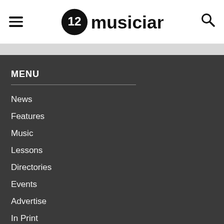MusicianMagazine header with hamburger menu, logo, and search icon
MENU
News
Features
Music
Lessons
Directories
Events
Advertise
In Print